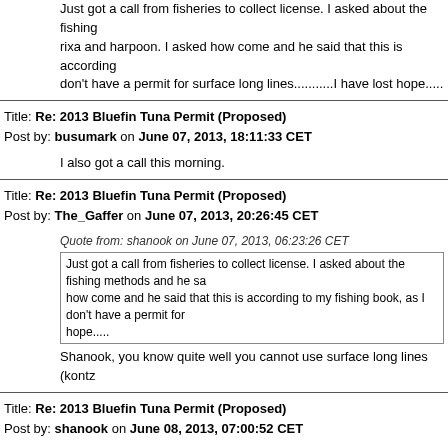Just got a call from fisheries to collect license. I asked about the fishing methods and he said rixa and harpoon. I asked how come and he said that this is according to my fishing book, as I don't have a permit for surface long lines...........I have lost hope.....
Title: Re: 2013 Bluefin Tuna Permit (Proposed)
Post by: busumark on June 07, 2013, 18:11:33 CET
I also got a call this morning.
Title: Re: 2013 Bluefin Tuna Permit (Proposed)
Post by: The_Gaffer on June 07, 2013, 20:26:45 CET
Quote from: shanook on June 07, 2013, 06:23:26 CET
Just got a call from fisheries to collect license. I asked about the fishing methods and he said how come and he said that this is according to my fishing book, as I don't have a permit for hope.....
Shanook, you know quite well you cannot use surface long lines (kontz...
Title: Re: 2013 Bluefin Tuna Permit (Proposed)
Post by: shanook on June 08, 2013, 07:00:52 CET
No I don't expect to be allowed to use surface long line for tuna. ...my c is for the reason given that it is according to my fishing license. Which to a special license to fish for tuna. Otherwise if it was according to my restriction for line diameter, and I would be able to use a handling with going to turn into an excuse to make more restrictions on the fishing lic I still don't agree that a tuna permit should carry special restrictions, bu our recreational fishing license and nothing extra.
Because now a person who does not have a tuna permit and goes...